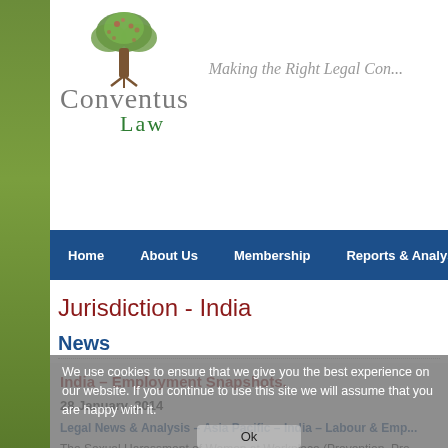[Figure (logo): Conventus Law logo with tree graphic and tagline 'Making the Right Legal Con...']
Home | About Us | Membership | Reports & Analysis | Vide...
Jurisdiction - India
News
India – Employment Snapshots.
28 January, 2014
Legal News & Analysis – Asia Pacific – India – Labour & Emp...
The Sexual Harassment of Women at Workplace (Prevention, Pro... 2013, ('SH Act'), that received Presidential assent on April 22, 201... brought into force by the Central Government's notification dated ... published in the Official Gazette.
As previously reported, the SH Act codifies a formal redress mech...
We use cookies to ensure that we give you the best experience on our website. If you continue to use this site we will assume that you are happy with it.